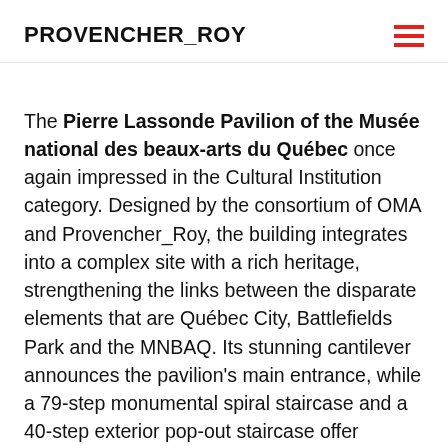PROVENCHER_ROY
The Pierre Lassonde Pavilion of the Musée national des beaux-arts du Québec once again impressed in the Cultural Institution category. Designed by the consortium of OMA and Provencher_Roy, the building integrates into a complex site with a rich heritage, strengthening the links between the disparate elements that are Québec City, Battlefields Park and the MNBAQ. Its stunning cantilever announces the pavilion's main entrance, while a 79-step monumental spiral staircase and a 40-step exterior pop-out staircase offer spectacular views of the park, the city and the museum.